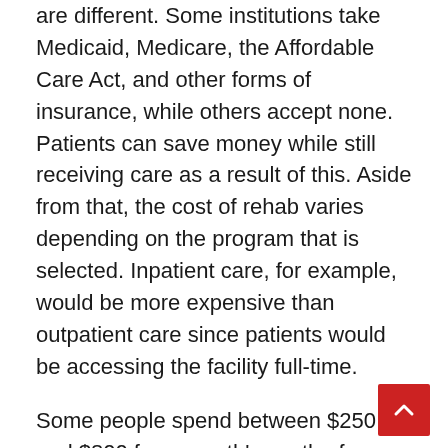are different. Some institutions take Medicaid, Medicare, the Affordable Care Act, and other forms of insurance, while others accept none. Patients can save money while still receiving care as a result of this. Aside from that, the cost of rehab varies depending on the program that is selected. Inpatient care, for example, would be more expensive than outpatient care since patients would be accessing the facility full-time.
Some people spend between $250 and $800 for a month's worth of detoxification.
Because they are only on campus for a few hours each weekday, those seeking outpatient rehabilitation can save money on